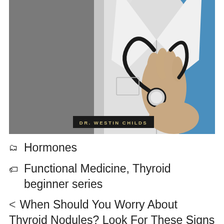[Figure (photo): A doctor/medical professional in a white coat and blue scrubs holding a stethoscope, with a gray background. Watermark label 'DR. WESTIN CHILDS' in bottom center.]
🗂 Hormones
🏷 Functional Medicine, Thyroid beginner series
< When Should You Worry About Thyroid Nodules? Look For These Signs